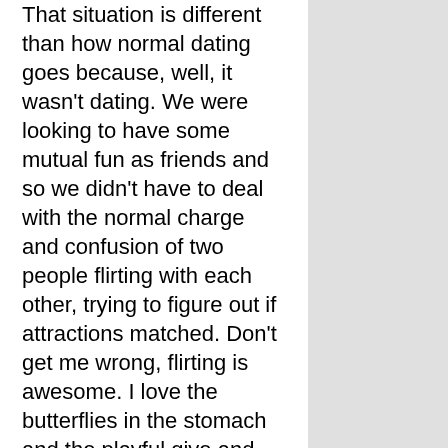That situation is different than how normal dating goes because, well, it wasn't dating. We were looking to have some mutual fun as friends and so we didn't have to deal with the normal charge and confusion of two people flirting with each other, trying to figure out if attractions matched. Don't get me wrong, flirting is awesome. I love the butterflies in the stomach and the playful give and take while two or more people are trying to figure each other out. But having the chance to get some of the pressure off before anything physical happens is amazing as well.
Talking openly with a potential partner can also help to save both of your time from the beginning. If you're bisexual, you don't want to be with someone who believes all bi-men are secretly gay and all bi-women are really straight and just going through a phase or acting for male attention. If you're